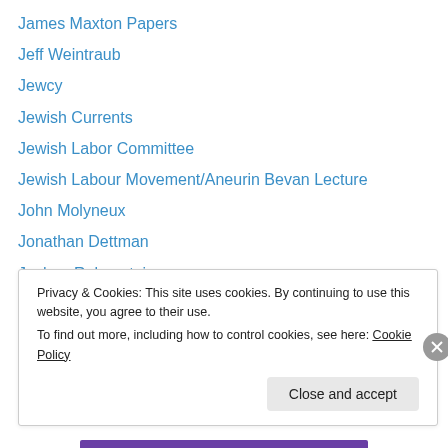James Maxton Papers
Jeff Weintraub
Jewcy
Jewish Currents
Jewish Labor Committee
Jewish Labour Movement/Aneurin Bevan Lecture
John Molyneux
Jonathan Dettman
Joshua Rubenstein
Journeyman
Karl and Freddie's Book Club
karlmarx.net
Kate Sharpley Library
Privacy & Cookies: This site uses cookies. By continuing to use this website, you agree to their use.
To find out more, including how to control cookies, see here: Cookie Policy
Close and accept